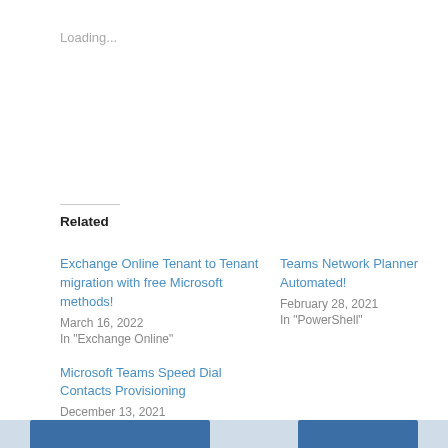Loading...
Related
Exchange Online Tenant to Tenant migration with free Microsoft methods!
March 16, 2022
In "Exchange Online"
Teams Network Planner Automated!
February 28, 2021
In "PowerShell"
Microsoft Teams Speed Dial Contacts Provisioning
December 13, 2021
In "microsoftteams"